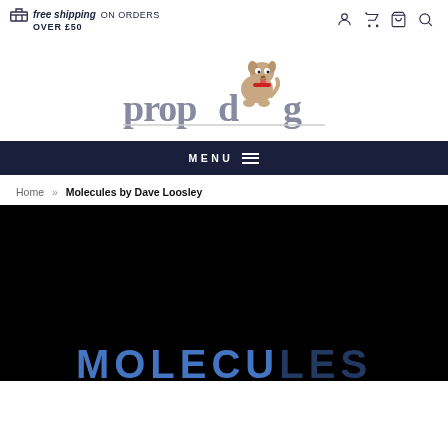free shipping ON ORDERS OVER £50
[Figure (logo): Propdog logo with cartoon dog sitting on the letter 'o', text reads 'propdog' in large grey serif letters]
MENU
Home » Molecules by Dave Loosley
[Figure (screenshot): Dark/black background product image with large blue text reading 'Molecules' partially visible at bottom]